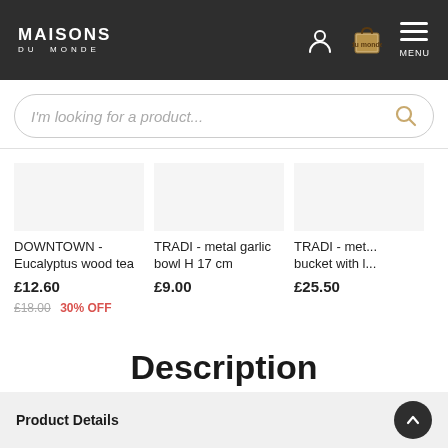[Figure (screenshot): Maisons du Monde website header with logo, user icon, shopping bag icon, and menu icon]
I'm looking for a product...
DOWNTOWN - Eucalyptus wood tea
£12.60
£18.00 30% OFF
TRADI - metal garlic bowl H 17 cm
£9.00
TRADI - met... bucket with l...
£25.50
Description
Product Details